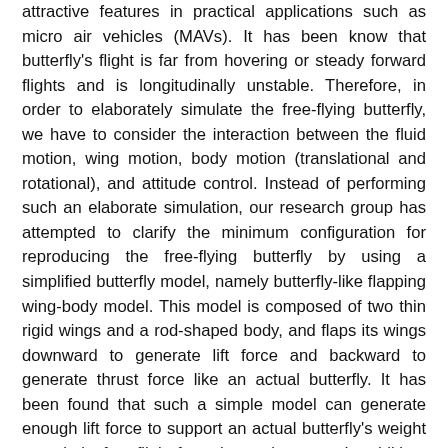attractive features in practical applications such as micro air vehicles (MAVs). It has been know that butterfly's flight is far from hovering or steady forward flights and is longitudinally unstable. Therefore, in order to elaborately simulate the free-flying butterfly, we have to consider the interaction between the fluid motion, wing motion, body motion (translational and rotational), and attitude control. Instead of performing such an elaborate simulation, our research group has attempted to clarify the minimum configuration for reproducing the free-flying butterfly by using a simplified butterfly model, namely butterfly-like flapping wing-body model. This model is composed of two thin rigid wings and a rod-shaped body, and flaps its wings downward to generate lift force and backward to generate thrust force like an actual butterfly. It has been found that such a simple model can generate enough lift force to support an actual butterfly's weight even in its free flight from the resting state. In addition, we have investigated the impact of the individual factors, such as wing shape, forewing and flexibility, the aerodynamic...